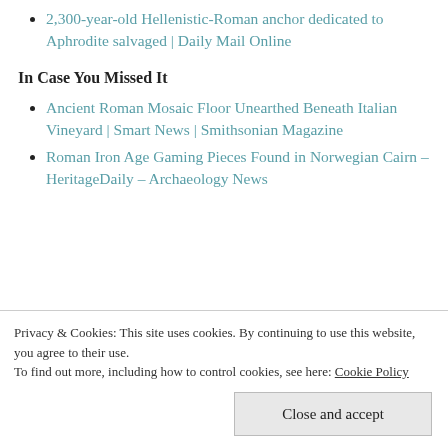2,300-year-old Hellenistic-Roman anchor dedicated to Aphrodite salvaged | Daily Mail Online
In Case You Missed It
Ancient Roman Mosaic Floor Unearthed Beneath Italian Vineyard | Smart News | Smithsonian Magazine
Roman Iron Age Gaming Pieces Found in Norwegian Cairn – HeritageDaily – Archaeology News
Privacy & Cookies: This site uses cookies. By continuing to use this website, you agree to their use.
To find out more, including how to control cookies, see here: Cookie Policy
Close and accept